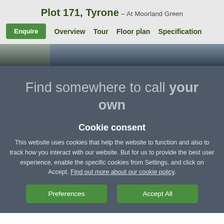Plot 171, Tyrone – At Moorland Green
Enquire   Overview   Tour   Floor plan   Specification
[Figure (photo): Partial photo of a person in a dark interior setting, used as a background image.]
Find somewhere to call your own
Cookie consent
This website uses cookies that help the website to function and also to track how you interact with our website. But for us to provide the best user experience, enable the specific cookies from Settings, and click on Accept. Find out more about our cookie policy.
Preferences   Accept All